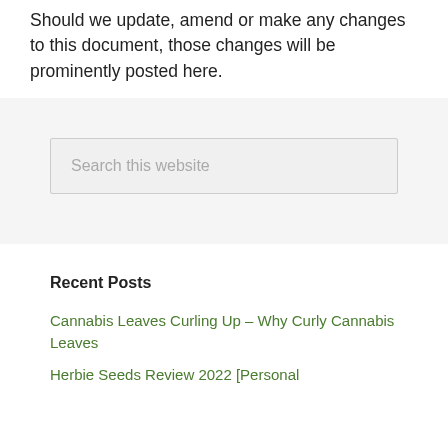Should we update, amend or make any changes to this document, those changes will be prominently posted here.
[Figure (other): Search box with placeholder text 'Search this website']
Recent Posts
Cannabis Leaves Curling Up – Why Curly Cannabis Leaves
Herbie Seeds Review 2022 [Personal...